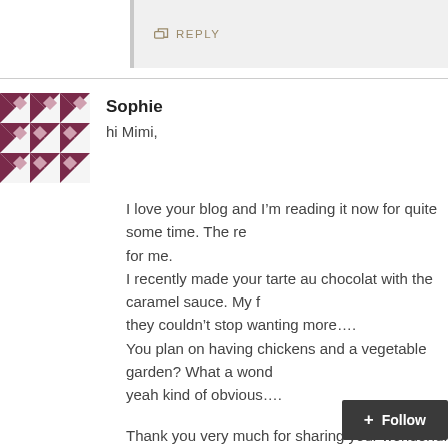↩ REPLY
Sophie
hi Mimi,
I love your blog and I'm reading it now for quite some time. The re for me.
I recently made your tarte au chocolat with the caramel sauce. My f they couldn't stop wanting more….
You plan on having chickens and a vegetable garden? What a wond yeah kind of obvious….
Thank you very much for sharing your wonderful ideas, recipes and that I'm studying French) and cooking, so your blog is like the incarn
bon weekend
Sophie,